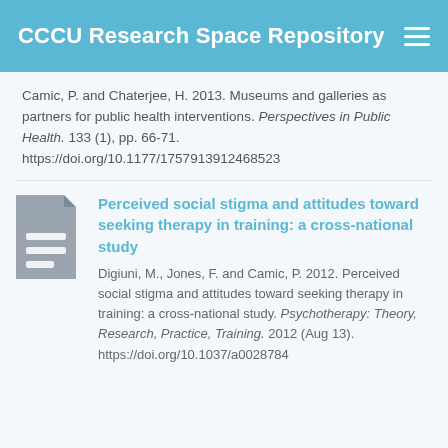CCCU Research Space Repository
Camic, P. and Chaterjee, H. 2013. Museums and galleries as partners for public health interventions. Perspectives in Public Health. 133 (1), pp. 66-71. https://doi.org/10.1177/1757913912468523
[Figure (illustration): Gray document icon with white horizontal lines representing text]
Perceived social stigma and attitudes toward seeking therapy in training: a cross-national study
Digiuni, M., Jones, F. and Camic, P. 2012. Perceived social stigma and attitudes toward seeking therapy in training: a cross-national study. Psychotherapy: Theory, Research, Practice, Training. 2012 (Aug 13). https://doi.org/10.1037/a0028784